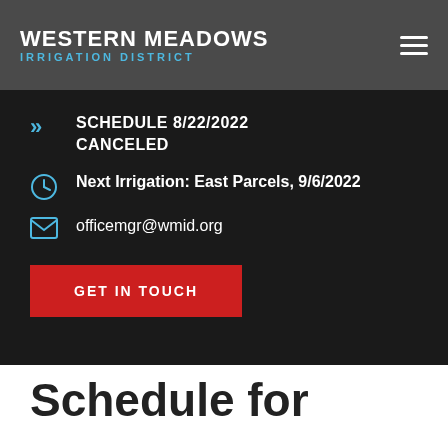WESTERN MEADOWS IRRIGATION DISTRICT
SCHEDULE 8/22/2022 CANCELED
Next Irrigation: East Parcels, 9/6/2022
officemgr@wmid.org
GET IN TOUCH
Schedule for